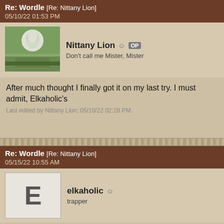Re: Wordle [Re: Nittany Lion]
05/10/22 01:53 PM
[Figure (photo): Avatar photo of Nittany Lion showing a tree and building outdoors]
Nittany Lion OP
Don't call me Mister, Mister
After much thought I finally got it on my last try. I must admit, Elkaholic's
Last edited by Nittany Lion; 05/10/22 02:28 PM.
Re: Wordle [Re: Nittany Lion]
05/15/22 10:55 AM
[Figure (illustration): Avatar letter E for elkaholic]
elkaholic
trapper
This one ruined my streak.

3 first letters to choose from and I picked the wrong one. Grrrrrrr